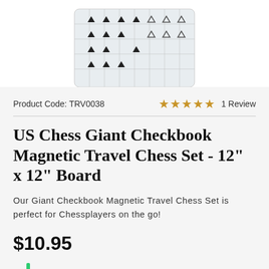[Figure (photo): Partial view of a magnetic travel chess set board from above, showing chess pieces on a folded checkbook-style board, white/light gray background.]
Product Code: TRV0038
★★★★★ 1 Review
US Chess Giant Checkbook Magnetic Travel Chess Set - 12" x 12" Board
Our Giant Checkbook Magnetic Travel Chess Set is perfect for Chessplayers on the go!
$10.95